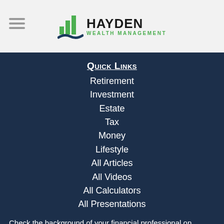[Figure (logo): Hayden Wealth Management logo with green bar chart icon and swoosh, company name in dark and green text]
Quick Links
Retirement
Investment
Estate
Tax
Money
Lifestyle
All Articles
All Videos
All Calculators
All Presentations
Check the background of your financial professional on FINRA's BrokerCheck.
The content is developed from sources believed to be providing accurate information. The information in this